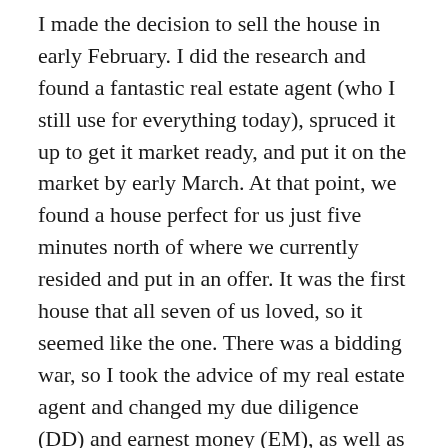I made the decision to sell the house in early February. I did the research and found a fantastic real estate agent (who I still use for everything today), spruced it up to get it market ready, and put it on the market by early March. At that point, we found a house perfect for us just five minutes north of where we currently resided and put in an offer. It was the first house that all seven of us loved, so it seemed like the one. There was a bidding war, so I took the advice of my real estate agent and changed my due diligence (DD) and earnest money (EM), as well as wrote a custom letter with pictures to the seller. And we won the bid!
My house went under contract five days later, and we set everything up for a simultaneous closing from our house. I spoke to my real estate...